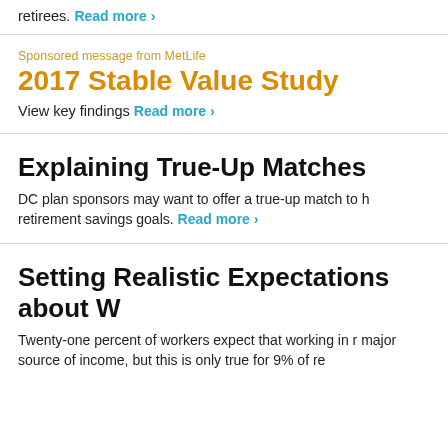retirees. Read more ›
Sponsored message from MetLife
2017 Stable Value Study
View key findings Read more ›
Explaining True-Up Matches
DC plan sponsors may want to offer a true-up match to h retirement savings goals. Read more ›
Setting Realistic Expectations about W
Twenty-one percent of workers expect that working in r major source of income, but this is only true for 9% of re